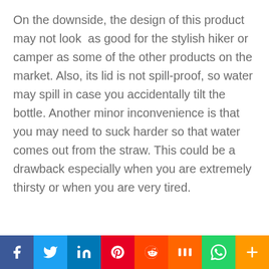On the downside, the design of this product may not look  as good for the stylish hiker or camper as some of the other products on the market. Also, its lid is not spill-proof, so water may spill in case you accidentally tilt the bottle. Another minor inconvenience is that you may need to suck harder so that water comes out from the straw. This could be a drawback especially when you are extremely thirsty or when you are very tired.
[Figure (other): Social media sharing bar with icons: Facebook, Twitter, LinkedIn, Pinterest, Reddit, Mix, WhatsApp, More]